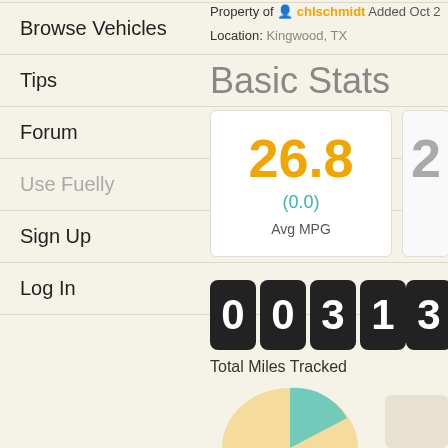Browse Vehicles
Tips
Forum
Use Fuelly
Sign Up
Log In
Property of chlschmidt Added Oct 2
Location: Kingwood, TX
Basic Stats
[Figure (infographic): Stat card showing Avg MPG of 26.8 with (0.0) in teal below and label Avg MPG]
Total Miles Tracked
[Figure (infographic): Odometer-style display showing digits 0,0,3,1,3]